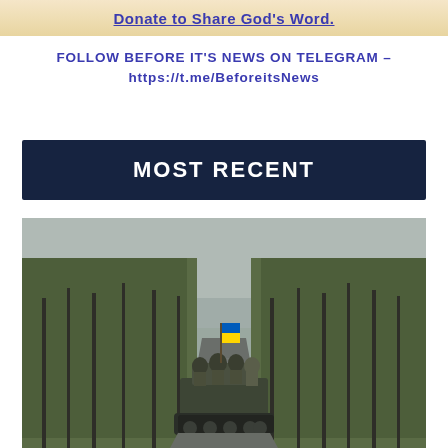Donate to Share God's Word.
FOLLOW BEFORE IT'S NEWS ON TELEGRAM –
https://t.me/BeforeitsNews
MOST RECENT
[Figure (photo): Military armored personnel carrier on a forest road with Ukrainian soldiers on top, one holding a blue and yellow Ukrainian flag. Overcast sky, leafless trees on both sides of the road.]